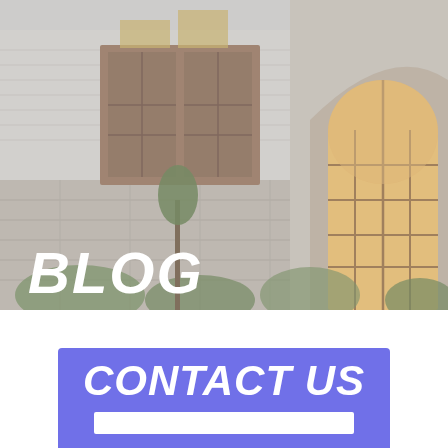[Figure (photo): Exterior photo of a house with stone facade and an arched wooden door/window, with a semi-transparent light overlay. The word BLOG appears in large white bold italic text at the bottom-left of the image.]
BLOG
CONTACT US